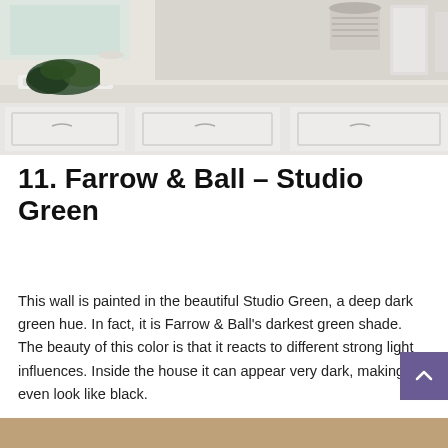[Figure (photo): Kitchen with white shaker-style cabinets, white countertop, kale/broccoli on the counter and in a white Belfast sink, stacked grey-striped bowls and white dishes on the upper shelf in the background.]
11. Farrow & Ball – Studio Green
This wall is painted in the beautiful Studio Green, a deep dark green hue. In fact, it is Farrow & Ball's darkest green shade. The beauty of this color is that it reacts to different strong light influences. Inside the house it can appear very dark, making it even look like black.
[Figure (photo): Partial view of another room photo at the bottom of the page, showing a warm-toned interior.]